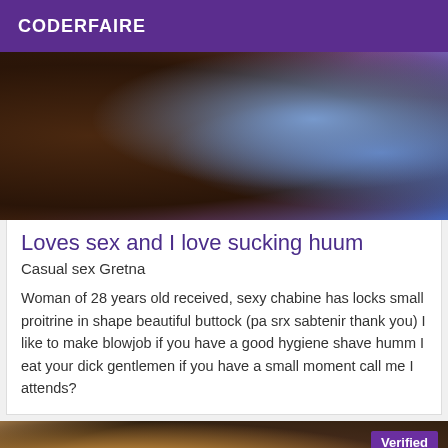CODERFAIRE
[Figure (photo): Close-up photo showing tattooed skin, dark and blue toned tattoo artwork visible on upper body]
Loves sex and I love sucking huum
Casual sex Gretna
Woman of 28 years old received, sexy chabine has locks small proitrine in shape beautiful buttock (pa srx sabtenir thank you) I like to make blowjob if you have a good hygiene shave humm I eat your dick gentlemen if you have a small moment call me I attends?
[Figure (photo): Photo of a woman with curly dark hair, warm golden tones, with a Verified badge in the top right corner]